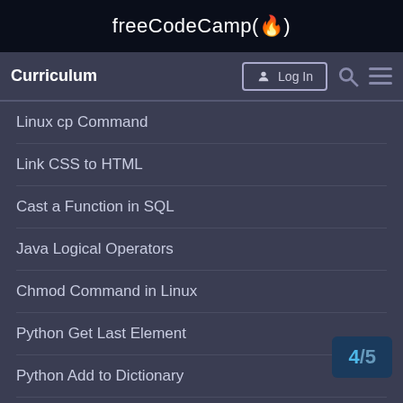freeCodeCamp(🔥)
Curriculum
Linux cp Command
Link CSS to HTML
Cast a Function in SQL
Java Logical Operators
Chmod Command in Linux
Python Get Last Element
Python Add to Dictionary
Declare an Array in Java
Get Current Time in Python
Change Div Background Color
Get Variable Type in Python
4 / 5